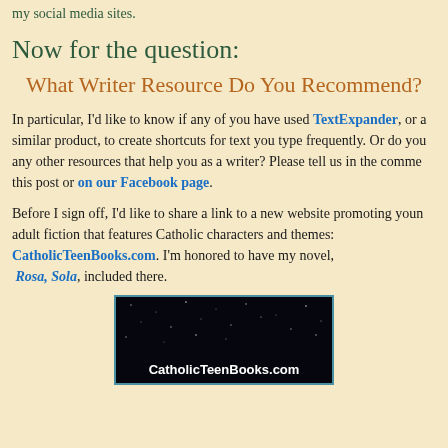my social media sites.
Now for the question:
What Writer Resource Do You Recommend?
In particular, I'd like to know if any of you have used TextExpander, or a similar product, to create shortcuts for text you type frequently. Or do you any other resources that help you as a writer? Please tell us in the comments of this post or on our Facebook page.
Before I sign off, I'd like to share a link to a new website promoting young adult fiction that features Catholic characters and themes: CatholicTeenBooks.com. I'm honored to have my novel, Rosa, Sola, included there.
[Figure (photo): Dark night sky background image with CatholicTeenBooks.com text in white at the bottom]